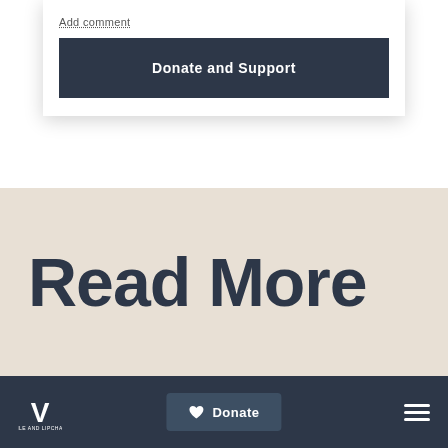Add comment
Donate and Support
Read More
[Figure (logo): V logo mark in white on dark background]
Donate
[Figure (other): Hamburger menu icon (three horizontal lines) in white]